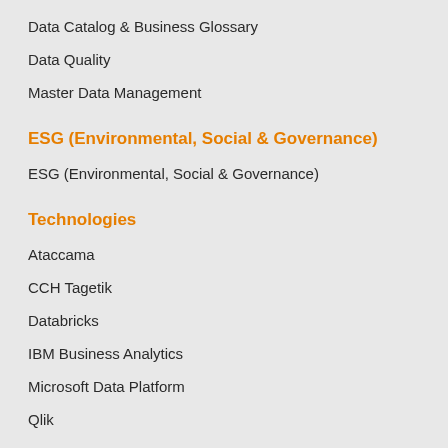Data Catalog & Business Glossary
Data Quality
Master Data Management
ESG (Environmental, Social & Governance)
ESG (Environmental, Social & Governance)
Technologies
Ataccama
CCH Tagetik
Databricks
IBM Business Analytics
Microsoft Data Platform
Qlik